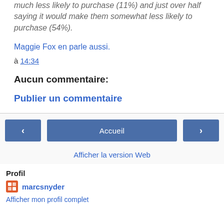much less likely to purchase (11%) and just over half saying it would make them somewhat less likely to purchase (54%).
Maggie Fox en parle aussi.
à 14:34
Aucun commentaire:
Publier un commentaire
Accueil
Afficher la version Web
Profil
marcsnyder
Afficher mon profil complet